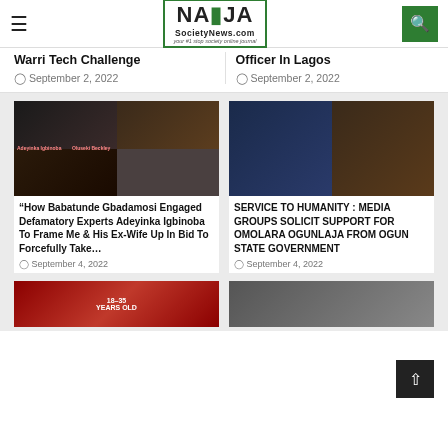NaiJa SocietyNews.com
Warri Tech Challenge
September 2, 2022
Officer In Lagos
September 2, 2022
[Figure (photo): Four-panel photo collage: top-left woman with red hair, top-right man in plaid shirt labeled Oluanki Beckley, bottom-left man with headband, bottom-right smiling police officer in uniform. Red text overlays 'Adeyinka Igbinoba' and 'Oluseki Beckley'.]
“How Babatunde Gbadamosi Engaged Defamatory Experts Adeyinka Igbinoba To Frame Me & His Ex-Wife Up In Bid To Forcefully Take…
September 4, 2022
[Figure (photo): Two-panel photo: left shows older man with glasses and beard wearing blue cap at podium; right shows woman in athletic wear seated on a chair.]
SERVICE TO HUMANITY : MEDIA GROUPS SOLICIT SUPPORT FOR OMOLARA OGUNLAJA FROM OGUN STATE GOVERNMENT
September 4, 2022
[Figure (photo): Partial view of two images at bottom: left is a red background image with text '18-35 YEARS OLD'; right shows a man in a grey shirt.]